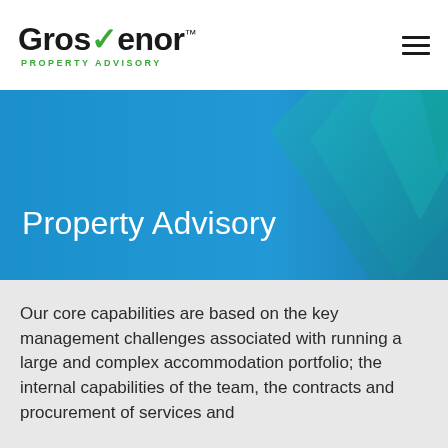[Figure (logo): Grosvenor Property Advisory logo with green checkmark V and green subtitle text]
Property Advisory
Our core capabilities are based on the key management challenges associated with running a large and complex accommodation portfolio; the internal capabilities of the team, the contracts and procurement of services and